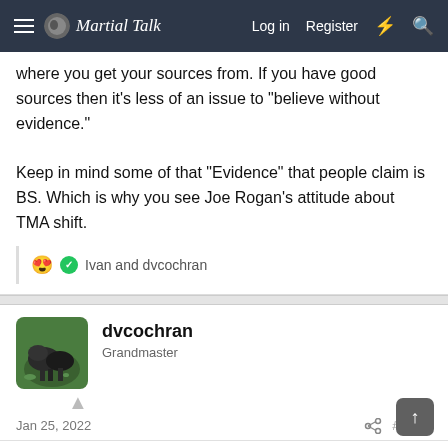Martial Talk — Log in  Register
where you get your sources from. If you have good sources then it's less of an issue to "believe without evidence."

Keep in mind some of that "Evidence" that people claim is BS. Which is why you see Joe Rogan's attitude about TMA shift.
😍 ✅ Ivan and dvcochran
dvcochran
Grandmaster
Jan 25, 2022    #2,204
JowGaWolf said: ↑

Let's see. I believe in God. Ask me to prove that God is real. I can't. I have healthy mindset. So to answer your question. Yes.